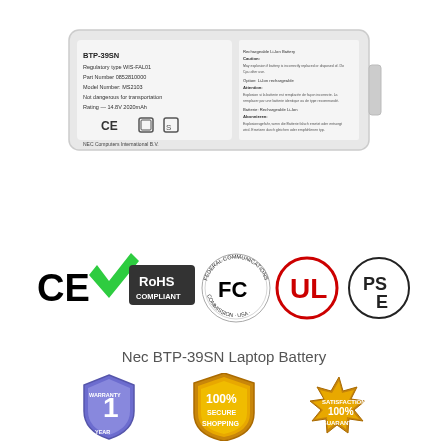[Figure (photo): White NEC laptop battery pack labeled BTP-39SN, Regulatory type WIS-FAL01, Part Number 0852810000, Model Number MS2103, Not dangerous for transportation, Rating 14.8V 2020mAh, NEC Computers International B.V., with CE mark and other safety symbols]
[Figure (logo): Row of certification logos: CE mark, RoHS Compliant checkmark badge, FCC (Federal Communications Commission USA) logo, UL logo in red circle, PSE logo in circle]
Nec BTP-39SN Laptop Battery
[Figure (infographic): Three trust badge icons: 1 Year Warranty shield, 100% Secure Shopping gold shield, 100% Satisfaction Guarantee gold starburst]